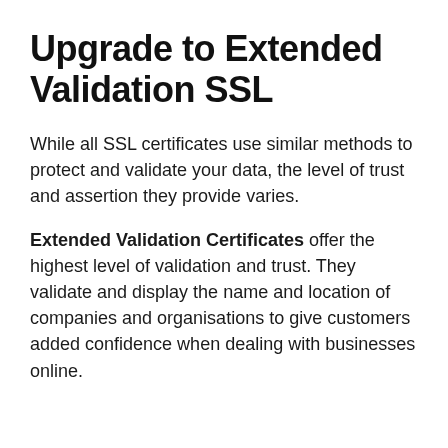Upgrade to Extended Validation SSL
While all SSL certificates use similar methods to protect and validate your data, the level of trust and assertion they provide varies.
Extended Validation Certificates offer the highest level of validation and trust. They validate and display the name and location of companies and organisations to give customers added confidence when dealing with businesses online.